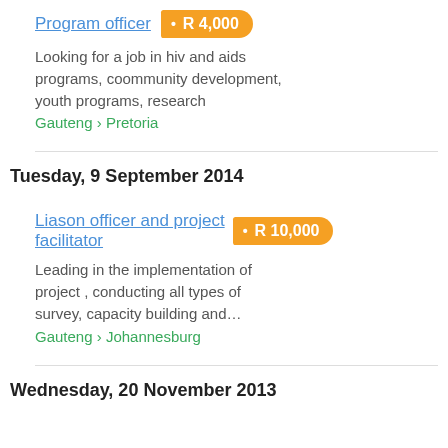Program officer · R 4,000
Looking for a job in hiv and aids programs, coommunity development, youth programs, research
Gauteng › Pretoria
Tuesday, 9 September 2014
Liason officer and project facilitator · R 10,000
Leading in the implementation of project , conducting all types of survey, capacity building and…
Gauteng › Johannesburg
Wednesday, 20 November 2013